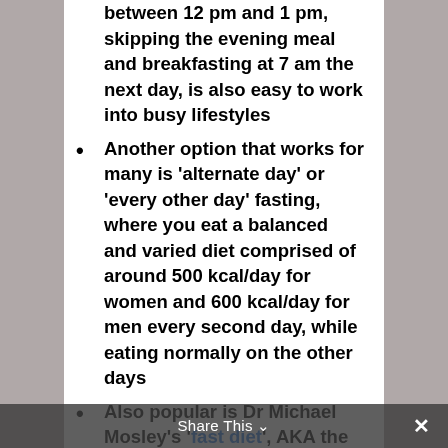between 12 pm and 1 pm, skipping the evening meal and breakfasting at 7 am the next day, is also easy to work into busy lifestyles
Another option that works for many is 'alternate day' or 'every other day' fasting, where you eat a balanced and varied diet comprised of around 500 kcal/day for women and 600 kcal/day for men every second day, while eating normally on the other days
Also popular is Dr Michael Mosley's 'fast diet', AKA the 5:2 diet: eat normally for 5 days, and eat only one-quarter of your normal calorific intake on the other 2 days of the
Share This ∨  ×